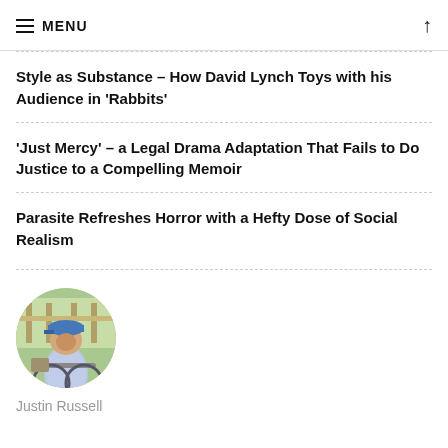≡ MENU ↑
Style as Substance – How David Lynch Toys with his Audience in 'Rabbits'
'Just Mercy' – a Legal Drama Adaptation That Fails to Do Justice to a Compelling Memoir
Parasite Refreshes Horror with a Hefty Dose of Social Realism
[Figure (photo): Circular profile photo of Justin Russell, a person wearing a blue cap and patterned shirt, sitting on or near a bicycle outdoors.]
Justin Russell